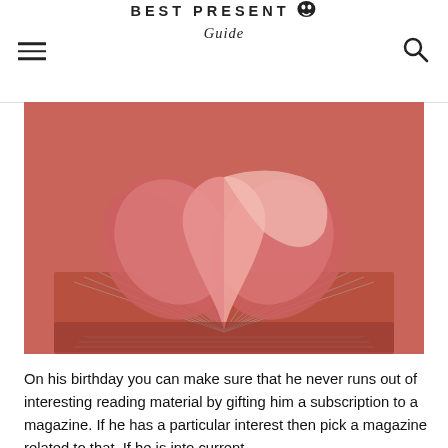BEST PRESENT Guide
[Figure (photo): An open book with pages folded into a heart shape, photographed against a pink/red background. The book pages fan out like petals with two central pages forming a heart.]
On his birthday you can make sure that he never runs out of interesting reading material by gifting him a subscription to a magazine. If he has a particular interest then pick a magazine related to that. If he is into current